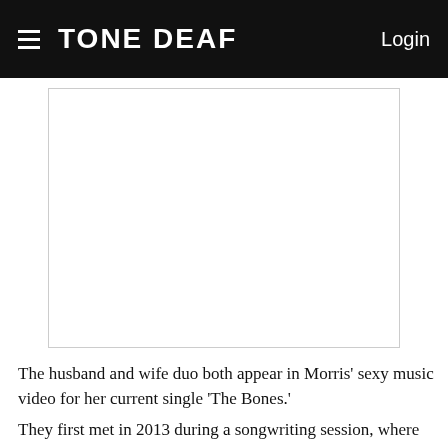TONE DEAF  Login
[Figure (photo): Blank white image placeholder with light border, representing an embedded image or video thumbnail]
The husband and wife duo both appear in Morris' sexy music video for her current single 'The Bones.'
They first met in 2013 during a songwriting session, where they collaborated on 'Last Turn Home' for Tim McGraw.